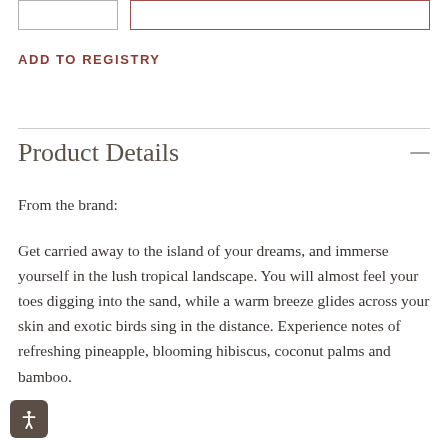[Figure (screenshot): Two UI button boxes at top: a small grey-bordered box on the left and a larger rust/brown-bordered box on the right]
ADD TO REGISTRY
Product Details
From the brand:
Get carried away to the island of your dreams, and immerse yourself in the lush tropical landscape. You will almost feel your toes digging into the sand, while a warm breeze glides across your skin and exotic birds sing in the distance. Experience notes of refreshing pineapple, blooming hibiscus, coconut palms and bamboo.